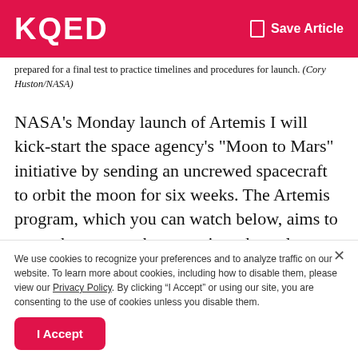KQED   Save Article
prepared for a final test to practice timelines and procedures for launch. (Cory Huston/NASA)
NASA's Monday launch of Artemis I will kick-start the space agency's "Moon to Mars" initiative by sending an uncrewed spacecraft to orbit the moon for six weeks. The Artemis program, which you can watch below, aims to return humans to the moon in order to learn about survival in space.
We use cookies to recognize your preferences and to analyze traffic on our website. To learn more about cookies, including how to disable them, please view our Privacy Policy. By clicking “I Accept” or using our site, you are consenting to the use of cookies unless you disable them.
I Accept